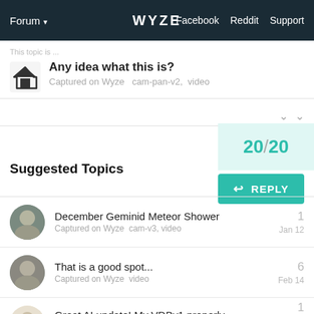Forum  WYZE  Facebook  Reddit  Support
Any idea what this is?
Captured on Wyze  cam-pan-v2,  video
20/20
REPLY
Suggested Topics
December Geminid Meteor Shower
Captured on Wyze  cam-v3, video
1
Jan 12
That is a good spot...
Captured on Wyze  video
6
Feb 14
Great AI update! My VDBv1 properly AI tagged my pet!
Captured on Wyze  video, video-doorbell
1
Mar 22